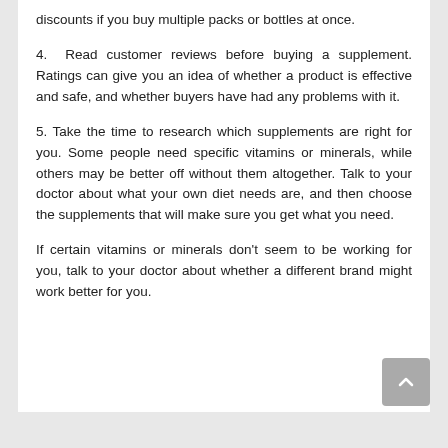discounts if you buy multiple packs or bottles at once.
4. Read customer reviews before buying a supplement. Ratings can give you an idea of whether a product is effective and safe, and whether buyers have had any problems with it.
5. Take the time to research which supplements are right for you. Some people need specific vitamins or minerals, while others may be better off without them altogether. Talk to your doctor about what your own diet needs are, and then choose the supplements that will make sure you get what you need.
If certain vitamins or minerals don't seem to be working for you, talk to your doctor about whether a different brand might work better for you.